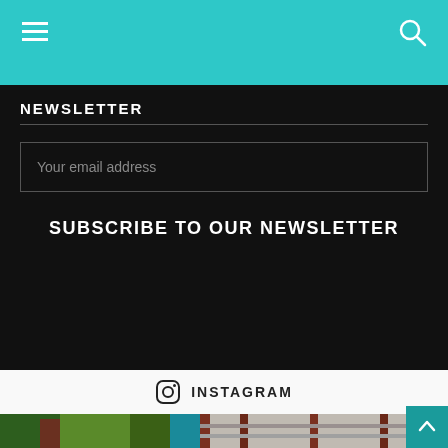Navigation bar with hamburger menu and search icon
NEWSLETTER
Your email address
SUBSCRIBE TO OUR NEWSLETTER
INSTAGRAM
[Figure (photo): Tropical photo strip showing palm trees with coconuts and a wooden structure/building with beams]